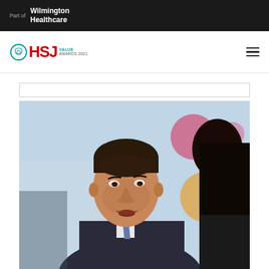Part of Wilmington Healthcare
[Figure (logo): HSJ Value Awards 2021 logo with circular emblem]
[Figure (photo): A man in a dark suit and tie speaking at a healthcare event, with colorful circular decorations in the background. A woman with dark hair is partially visible on the right.]